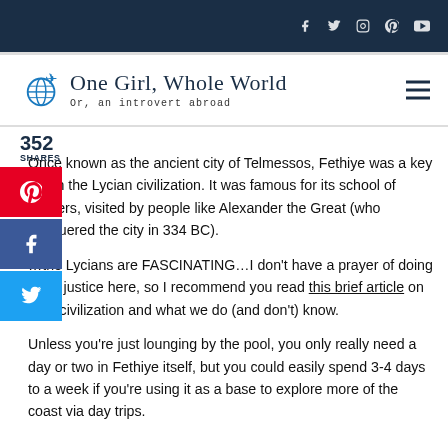One Girl, Whole World — Or, an introvert abroad
352 SHARES
Once known as the ancient city of Telmessos, Fethiye was a key city in the Lycian civilization. It was famous for its school of diviners, visited by people like Alexander the Great (who conquered the city in 334 BC).
...the Lycians are FASCINATING...I don't have a prayer of doing them justice here, so I recommend you read this brief article on their civilization and what we do (and don't) know.
Unless you're just lounging by the pool, you only really need a day or two in Fethiye itself, but you could easily spend 3-4 days to a week if you're using it as a base to explore more of the coast via day trips.